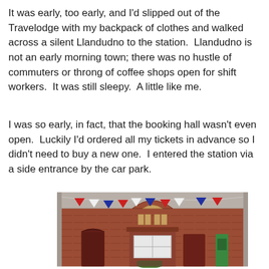It was early, too early, and I'd slipped out of the Travelodge with my backpack of clothes and walked across a silent Llandudno to the station.  Llandudno is not an early morning town; there was no hustle of commuters or throng of coffee shops open for shift workers.  It was still sleepy.  A little like me.
I was so early, in fact, that the booking hall wasn't even open.  Luckily I'd ordered all my tickets in advance so I didn't need to buy a new one.  I entered the station via a side entrance by the car park.
[Figure (photo): Photograph of Llandudno railway station exterior. A red brick Victorian building with an arched gable. Colourful triangular bunting (red, white and blue pennants) is strung across the front under a canopy roof. The station entrance has a white-framed window and dark red/brown doors. A green machine (possibly a ticket machine) is visible on the right.]